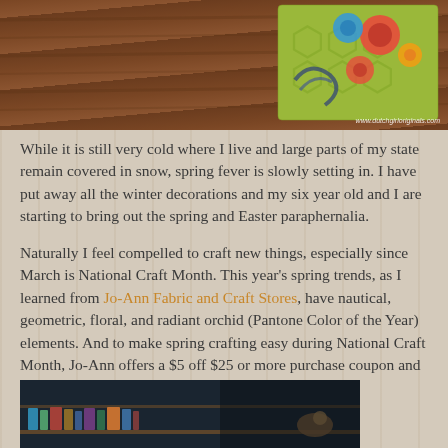[Figure (photo): Top portion of a photo showing a colorful floral and geometric patterned fabric item (pillow or pouch) on a wooden floor surface, with watermark 'www.dutchgirloriginals.com']
While it is still very cold where I live and large parts of my state remain covered in snow, spring fever is slowly setting in. I have put away all the winter decorations and my six year old and I are starting to bring out the spring and Easter paraphernalia.
Naturally I feel compelled to craft new things, especially since March is National Craft Month. This year's spring trends, as I learned from Jo-Ann Fabric and Craft Stores, have nautical, geometric, floral, and radiant orchid (Pantone Color of the Year) elements. And to make spring crafting easy during National Craft Month, Jo-Ann offers a $5 off $25 or more purchase coupon and a spring crafting inspiration website.
[Figure (photo): Bottom portion of a photo showing bookshelves with books in a dimly lit room]